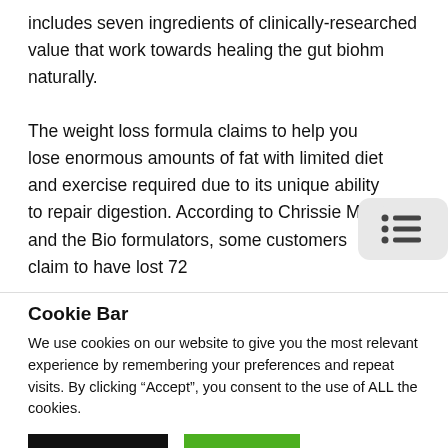includes seven ingredients of clinically-researched value that work towards healing the gut biohm naturally.
The weight loss formula claims to help you lose enormous amounts of fat with limited diet and exercise required due to its unique ability to repair digestion. According to Chrissie Miller and the Bio formulators, some customers claim to have lost 72
[Figure (other): A small rounded-rectangle icon showing a bulleted list symbol (three rows of bullet points and lines), representing a table of contents or list menu button.]
Cookie Bar
We use cookies on our website to give you the most relevant experience by remembering your preferences and repeat visits. By clicking “Accept”, you consent to the use of ALL the cookies.
Cookie settings   ACCEPT